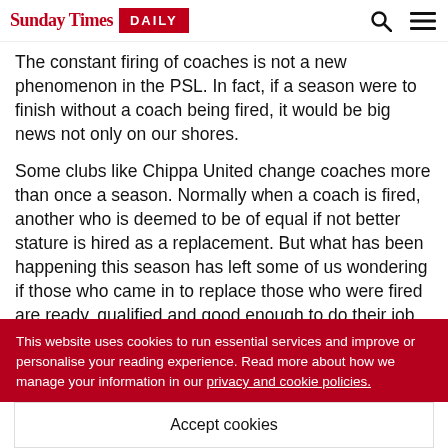Sunday Times DAILY
The constant firing of coaches is not a new phenomenon in the PSL. In fact, if a season were to finish without a coach being fired, it would be big news not only on our shores.
Some clubs like Chippa United change coaches more than once a season. Normally when a coach is fired, another who is deemed to be of equal if not better stature is hired as a replacement. But what has been happening this season has left some of us wondering if those who came in to replace those who were fired are ready, qualified and good enough to do their job.
This website uses cookies to run essential services and improve or personalise your reading experience. Read more about how we manage your information in our privacy and cookie policies.
Accept cookies